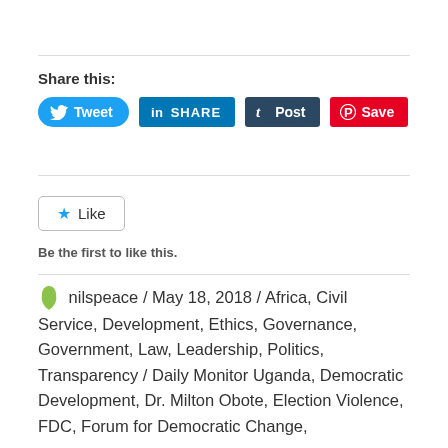[Figure (other): Share buttons row: Tweet (Twitter), SHARE (LinkedIn), Post (Tumblr), Save (Pinterest)]
Share this:
[Figure (other): Like button with star icon]
Be the first to like this.
nilspeace / May 18, 2018 / Africa, Civil Service, Development, Ethics, Governance, Government, Law, Leadership, Politics, Transparency / Daily Monitor Uganda, Democratic Development, Dr. Milton Obote, Election Violence, FDC, Forum for Democratic Change,